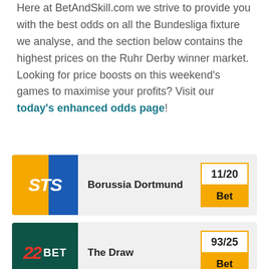Here at BetAndSkill.com we strive to provide you with the best odds on all the Bundesliga fixture we analyse, and the section below contains the highest prices on the Ruhr Derby winner market. Looking for price boosts on this weekend's games to maximise your profits? Visit our today's enhanced odds page!
| Logo | Team/Market | Odds |
| --- | --- | --- |
| STS | Borussia Dortmund | 11/20 |
| 22BET | The Draw | 93/25 |